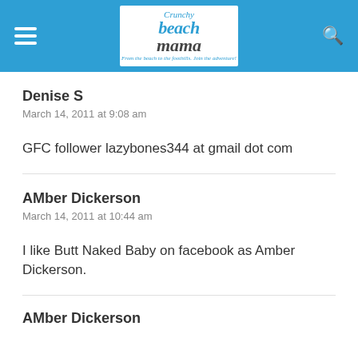Crunchy Beach Mama — From the beach to the foothills. Join the adventure!
Denise S
March 14, 2011 at 9:08 am
GFC follower lazybones344 at gmail dot com
AMber Dickerson
March 14, 2011 at 10:44 am
I like Butt Naked Baby on facebook as Amber Dickerson.
AMber Dickerson